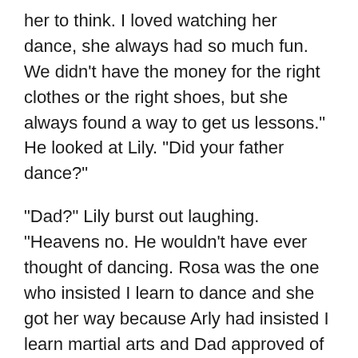her to think. I loved watching her dance, she always had so much fun. We didn't have the money for the right clothes or the right shoes, but she always found a way to get us lessons." He looked at Lily. "Did your father dance?"
"Dad?" Lily burst out laughing. "Heavens no. He wouldn't have ever thought of dancing. Rosa was the one who insisted I learn to dance and she got her way because Arly had insisted I learn martial arts and Dad approved of that. She used the well-rounded-education approach. Instructors of just about everything were brought here to the house. I had art